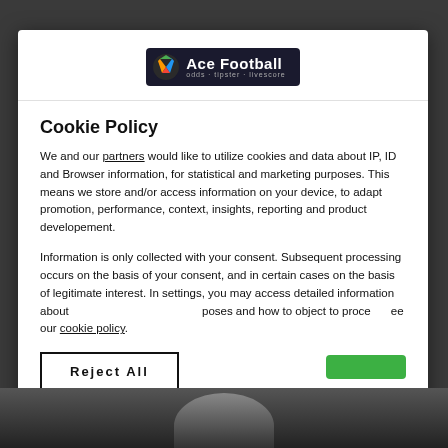[Figure (logo): Ace Football logo with icon on dark background]
Cookie Policy
We and our partners would like to utilize cookies and data about IP, ID and Browser information, for statistical and marketing purposes. This means we store and/or access information on your device, to adapt promotion, performance, context, insights, reporting and product developement.
Information is only collected with your consent. Subsequent processing occurs on the basis of your consent, and in certain cases on the basis of legitimate interest. In settings, you may access detailed information about poses and how to object to processing, see our cookie policy.